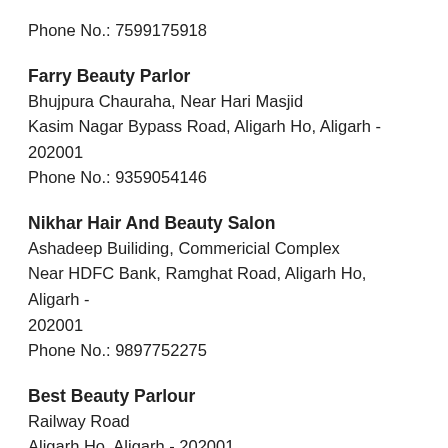Phone No.: 7599175918
Farry Beauty Parlor
Bhujpura Chauraha, Near Hari Masjid
Kasim Nagar Bypass Road, Aligarh Ho, Aligarh - 202001
Phone No.: 9359054146
Nikhar Hair And Beauty Salon
Ashadeep Builiding, Commericial Complex
Near HDFC Bank, Ramghat Road, Aligarh Ho, Aligarh - 202001
Phone No.: 9897752275
Best Beauty Parlour
Railway Road
Aligarh Ho, Aligarh - 202001